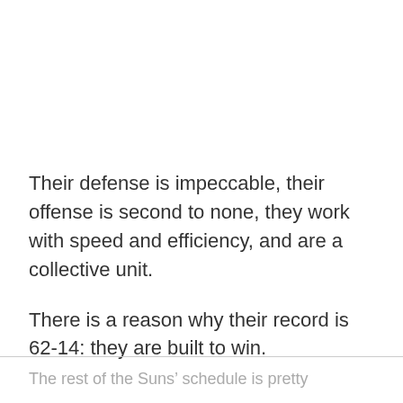Their defense is impeccable, their offense is second to none, they work with speed and efficiency, and are a collective unit.

There is a reason why their record is 62-14: they are built to win.
The rest of the Suns’ schedule is pretty